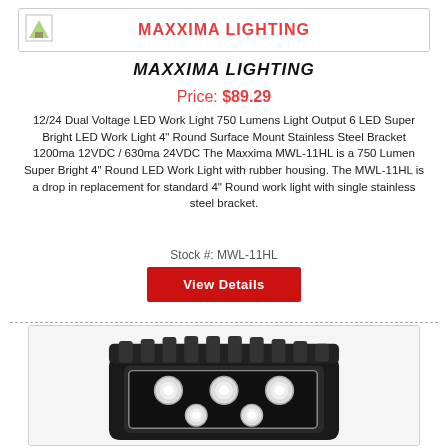MAXXIMA LIGHTING
MAXXIMA LIGHTING
Price: $89.29
12/24 Dual Voltage LED Work Light 750 Lumens Light Output 6 LED Super Bright LED Work Light 4" Round Surface Mount Stainless Steel Bracket 1200ma 12VDC / 630ma 24VDC The Maxxima MWL-11HL is a 750 Lumen Super Bright 4" Round LED Work Light with rubber housing. The MWL-11HL is a drop in replacement for standard 4" Round work light with single stainless steel bracket.
Stock #: MWL-11HL
View Details
[Figure (photo): Close-up photo of a Maxxima MWL-11HL LED work light with black rubber housing showing ribbed top edge and LED lens array]